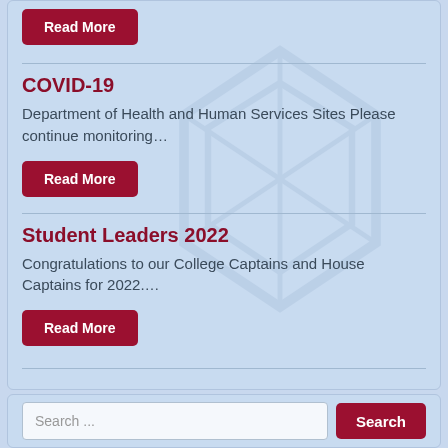Read More
COVID-19
Department of Health and Human Services Sites Please continue monitoring…
Read More
Student Leaders 2022
Congratulations to our College Captains and House Captains for 2022….
Read More
Search ...